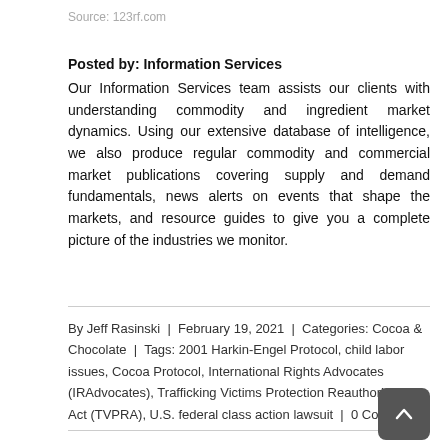Source: 123rf.com
Posted by: Information Services
Our Information Services team assists our clients with understanding commodity and ingredient market dynamics. Using our extensive database of intelligence, we also produce regular commodity and commercial market publications covering supply and demand fundamentals, news alerts on events that shape the markets, and resource guides to give you a complete picture of the industries we monitor.
By Jeff Rasinski  |  February 19, 2021  |  Categories: Cocoa & Chocolate  |  Tags: 2001 Harkin-Engel Protocol, child labor issues, Cocoa Protocol, International Rights Advocates (IRAdvocates), Trafficking Victims Protection Reauthorization Act (TVPRA), U.S. federal class action lawsuit  |  0 Comments